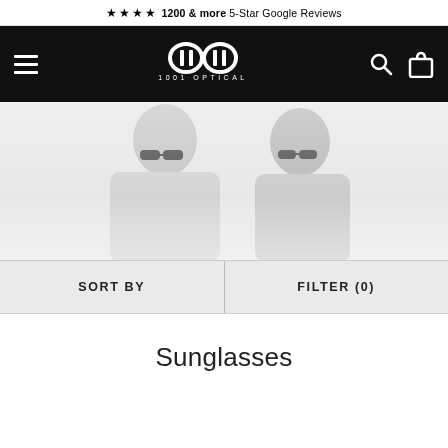★★★★★ 1200 & more 5-Star Google Reviews
[Figure (logo): 1001 Optical logo — stylized double-lens icon with '1001 OPTICAL' text underneath, white on black navigation bar with hamburger menu, search icon, and shopping bag icon]
[Figure (photo): Hero banner showing a man and a woman both wearing sunglasses, light grey/white background, faded style]
SORT BY
FILTER (0)
Sunglasses